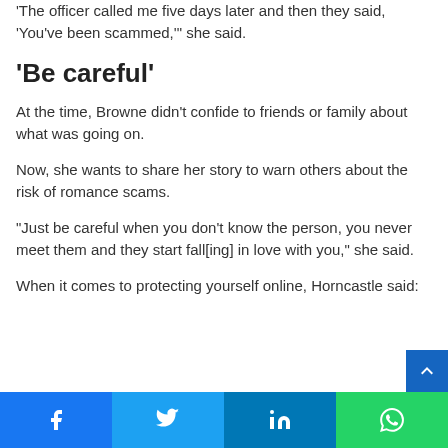'The officer called me five days later and then they said, 'You've been scammed,'' she said.
'Be careful'
At the time, Browne didn't confide to friends or family about what was going on.
Now, she wants to share her story to warn others about the risk of romance scams.
“Just be careful when you don’t know the person, you never meet them and they start fall[ing] in love with you,” she said.
When it comes to protecting yourself online, Horncastle said:
Facebook | Twitter | LinkedIn | WhatsApp